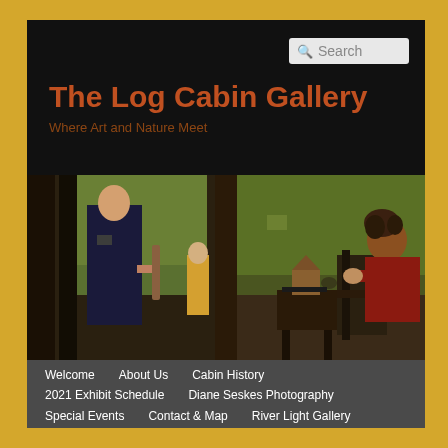The Log Cabin Gallery
Where Art and Nature Meet
[Figure (photo): Outdoor cabin gallery scene showing visitors and an artist sitting on a porch surrounded by trees and artwork]
Welcome
About Us
Cabin History
2021 Exhibit Schedule
Diane Seskes Photography
Special Events
Contact & Map
River Light Gallery